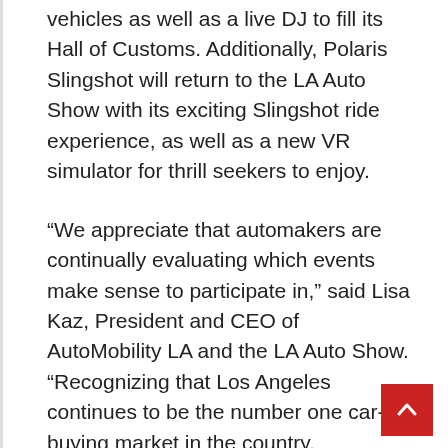vehicles as well as a live DJ to fill its Hall of Customs. Additionally, Polaris Slingshot will return to the LA Auto Show with its exciting Slingshot ride experience, as well as a new VR simulator for thrill seekers to enjoy.
“We appreciate that automakers are continually evaluating which events make sense to participate in,” said Lisa Kaz, President and CEO of AutoMobility LA and the LA Auto Show. “Recognizing that Los Angeles continues to be the number one car-buying market in the country, AutoMobility LA and the Los Angeles Auto Show are must-attend events for automotive brands, media and consumers.”
More exciting news on vehicles and on-site